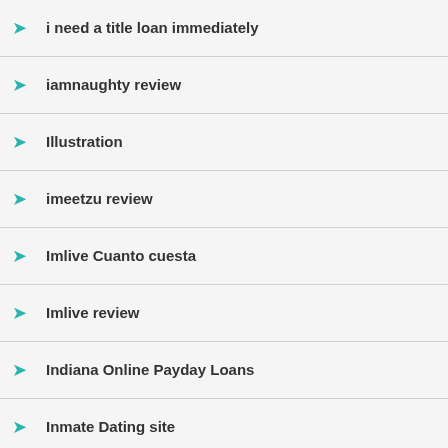i need a title loan immediately
iamnaughty review
Illustration
imeetzu review
Imlive Cuanto cuesta
Imlive review
Indiana Online Payday Loans
Inmate Dating site
installment loans bad credit
installment loans near me
installment loans no checks
installment loans no credit check